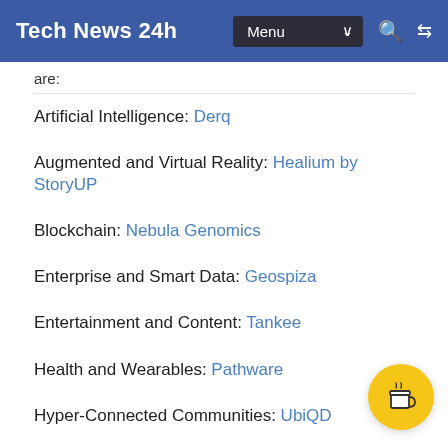Tech News 24h  Menu
are:
Artificial Intelligence: Derq
Augmented and Virtual Reality: Healium by StoryUP
Blockchain: Nebula Genomics
Enterprise and Smart Data: Geospiza
Entertainment and Content: Tankee
Health and Wearables: Pathware
Hyper-Connected Communities: UbiQD
Social and Culture: Supportiv
Sports and Performance: Mi…